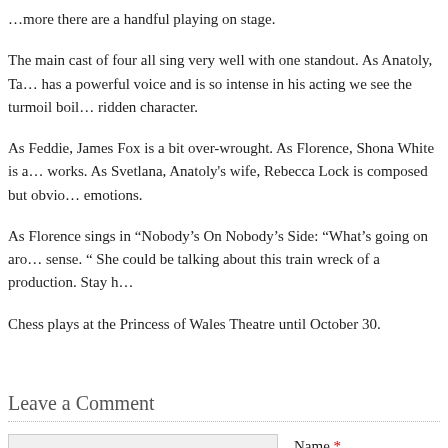…more there are a handful playing on stage.
The main cast of four all sing very well with one standout. As Anatoly, Ta… has a powerful voice and is so intense in his acting we see the turmoil boil… ridden character.
As Feddie, James Fox is a bit over-wrought. As Florence, Shona White is … works. As Svetlana, Anatoly's wife, Rebecca Lock is composed but obvio… emotions.
As Florence sings in “Nobody’s On Nobody’s Side: “What’s going on aro… sense. “ She could be talking about this train wreck of a production. Stay h…
Chess plays at the Princess of Wales Theatre until October 30.
Leave a Comment
Name *